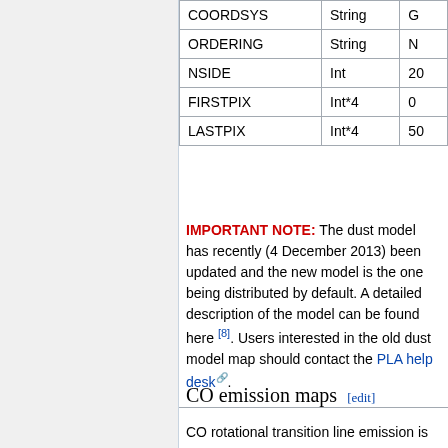|  |  |  |
| --- | --- | --- |
| COORDSYS | String | G… |
| ORDERING | String | N… |
| NSIDE | Int | 20… |
| FIRSTPIX | Int*4 | 0 |
| LASTPIX | Int*4 | 50… |
IMPORTANT NOTE: The dust model has recently (4 December 2013) been updated and the new model is the one being distributed by default. A detailed description of the model can be found here [8]. Users interested in the old dust model map should contact the PLA help desk.
CO emission maps [edit]
CO rotational transition line emission is